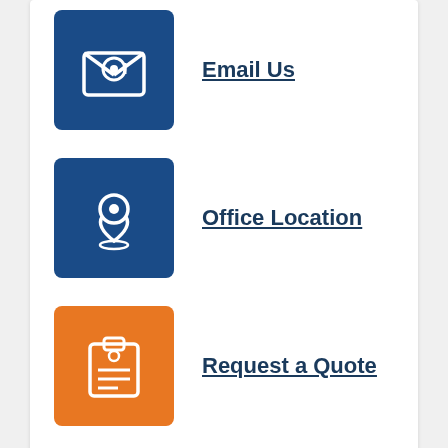Email Us
Office Location
Request a Quote
Contact us today
Call: (702) 382-4010
First and Last Name *